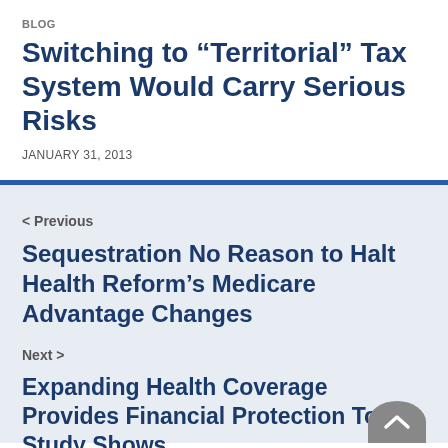BLOG
Switching to “Territorial” Tax System Would Carry Serious Risks
JANUARY 31, 2013
< Previous
Sequestration No Reason to Halt Health Reform’s Medicare Advantage Changes
Next >
Expanding Health Coverage Provides Financial Protection Too, Study Shows